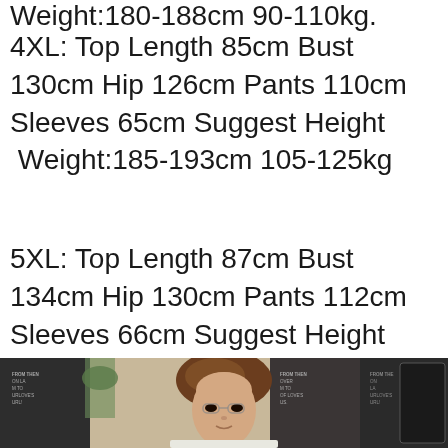Weight:180-188cm 90-110kg.
4XL: Top Length 85cm Bust 130cm Hip 126cm Pants 110cm Sleeves 65cm Suggest Height Weight:185-193cm 105-125kg
5XL: Top Length 87cm Bust 134cm Hip 130cm Pants 112cm Sleeves 66cm Suggest Height Weight:190-198cm 120-140kg.
[Figure (photo): Photo of a young man with brown hair, standing in front of a decorated background with text panels reading 'FROM THEN ON LA MTO URLOVE S URL' and similar repeated text, along with some indoor decor.]